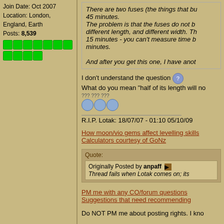Join Date: Oct 2007
Location: London, England, Earth
Posts: 8,539
[Figure (other): Green reputation dots bar, 11 green square dots]
There are two fuses (the things that b... 45 minutes.
The problem is that the fuses do not b... different length, and different width. Th... 15 minutes - you can't measure time b... minutes.

And after you get this one, I have anot...
I don't understand the question 😕
What do you mean "half of its length will no...
??? ??? ???
😕😕😕
R.I.P. Lotak: 18/07/07 - 01:10 05/10/09
How moon/vio gems affect levelling skills
Calculators courtesy of GoNz
Quote:
Originally Posted by anpaff
Thread fails when Lotak comes on; its
PM me with any CO/forum questions
Suggestions that need recommending
Do NOT PM me about posting rights. I kno...